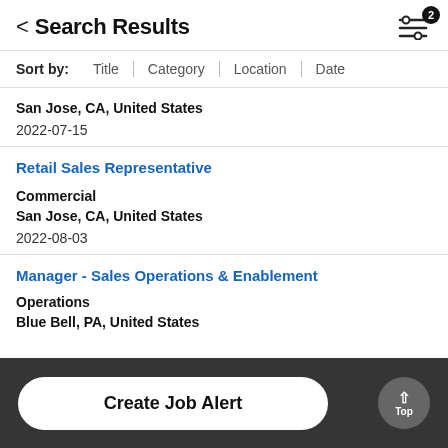< Search Results
Sort by: Title | Category | Location | Date
San Jose, CA, United States
2022-07-15
Retail Sales Representative
Commercial
San Jose, CA, United States
2022-08-03
Manager - Sales Operations & Enablement
Operations
Blue Bell, PA, United States
Create Job Alert